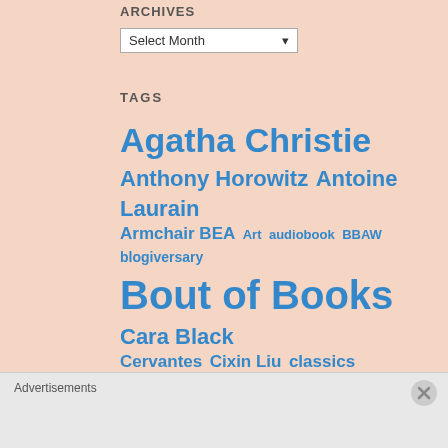ARCHIVES
Select Month
TAGS
Agatha Christie Anthony Horowitz Antoine Laurain Armchair BEA Art audiobook BBAW blogiversary Bout of Books Cara Black Cervantes Cixin Liu classics Classics Club Daphne du Maurier dorothy gilman Ernest Cline France France Book Tours Franck Thilliez Fred Vargas French French literature Gallic Books Georges Simenon
Advertisements